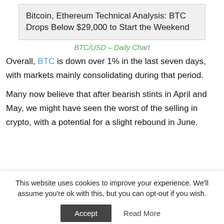[Figure (illustration): Placeholder image with alt text: Bitcoin, Ethereum Technical Analysis: BTC Drops Below $29,000 to Start the Weekend]
BTC/USD – Daily Chart
Overall, BTC is down over 1% in the last seven days, with markets mainly consolidating during that period.
Many now believe that after bearish stints in April and May, we might have seen the worst of the selling in crypto, with a potential for a slight rebound in June.
This website uses cookies to improve your experience. We'll assume you're ok with this, but you can opt-out if you wish.